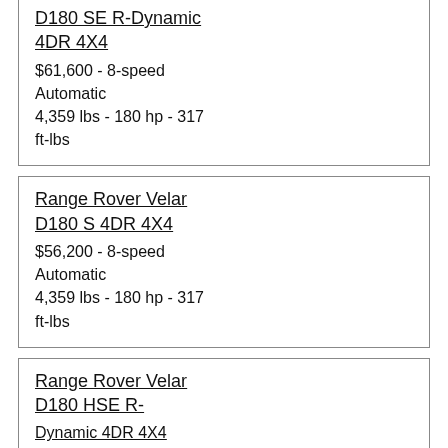Range Rover Velar D180 SE R-Dynamic 4DR 4X4
$61,600 - 8-speed Automatic
4,359 lbs - 180 hp - 317 ft-lbs
Range Rover Velar D180 S 4DR 4X4
$56,200 - 8-speed Automatic
4,359 lbs - 180 hp - 317 ft-lbs
Range Rover Velar D180 HSE R-Dynamic 4DR 4X4